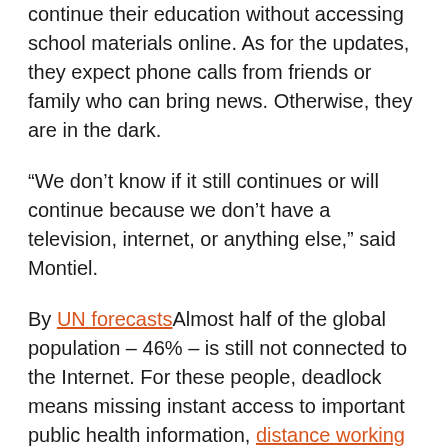continue their education without accessing school materials online. As for the updates, they expect phone calls from friends or family who can bring news. Otherwise, they are in the dark.
“We don’t know if it still continues or will continue because we don’t have a television, internet, or anything else,” said Montiel.
By UN forecasts Almost half of the global population – 46% – is still not connected to the Internet. For these people, deadlock means missing instant access to important public health information, distance working opportunities, online learning, telemedicine appointments, digital market shopping